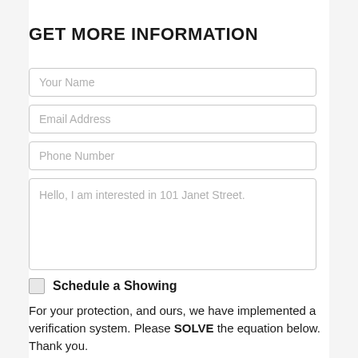GET MORE INFORMATION
Your Name
Email Address
Phone Number
Hello, I am interested in 101 Janet Street.
Schedule a Showing
For your protection, and ours, we have implemented a verification system. Please SOLVE the equation below. Thank you.
Answer:
[Figure (other): CAPTCHA verification image with handwritten-style math equation]